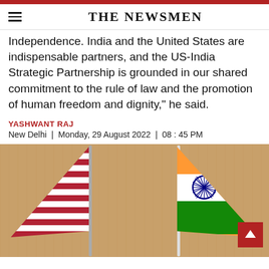THE NEWSMEN
Independence. India and the United States are indispensable partners, and the US-India Strategic Partnership is grounded in our shared commitment to the rule of law and the promotion of human freedom and dignity," he said.
YASHWANT RAJ
New Delhi | Monday, 29 August 2022 | 08 : 45 PM
[Figure (photo): US and Indian flags side by side on a wooden table background, with a red scroll-to-top button in the lower right corner.]